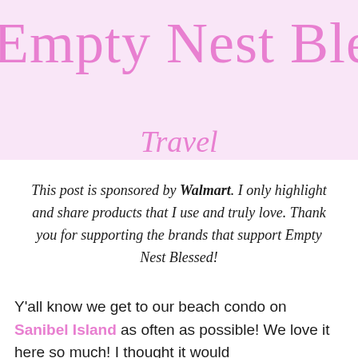Empty Nest Bless
Travel
This post is sponsored by Walmart. I only highlight and share products that I use and truly love. Thank you for supporting the brands that support Empty Nest Blessed!
Y'all know we get to our beach condo on Sanibel Island as often as possible! We love it here so much! I thought it would